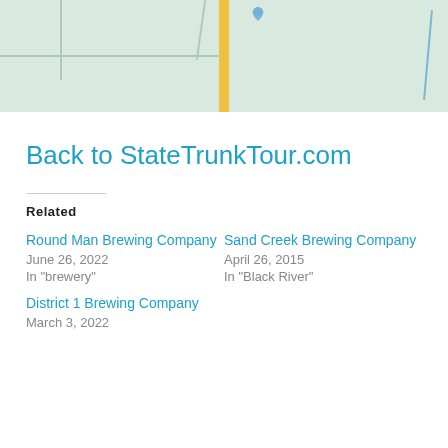[Figure (map): Map view showing roads and geographic features with a yellow vertical road in the center, green/teal background terrain, a water feature on the right, and a location pin visible near the top center-right area.]
Back to StateTrunkTour.com
Related
Round Man Brewing Company
June 26, 2022
In "brewery"
Sand Creek Brewing Company
April 26, 2015
In "Black River"
District 1 Brewing Company
March 3, 2022